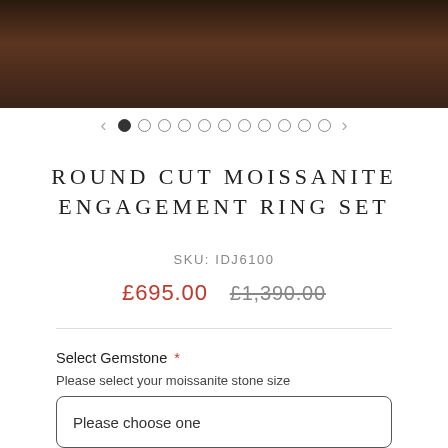[Figure (photo): Dark wood texture banner image at top of page]
[Figure (other): Carousel navigation with left arrow, one filled dot and ten empty dots, and right arrow]
ROUND CUT MOISSANITE ENGAGEMENT RING SET
SKU: IDJ6100
£695.00  £1,390.00
Select Gemstone *
Please select your moissanite stone size
Please choose one
Select Metal *